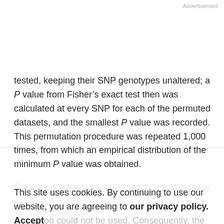Advertisement
tested, keeping their SNP genotypes unaltered; a P value from Fisher’s exact test then was calculated at every SNP for each of the permuted datasets, and the smallest P value was recorded. This permutation procedure was repeated 1,000 times, from which an empirical distribution of the minimum P value was obtained.
For the haplotype analyses, which included many
dependent tests in which the correlation coefficients could
This site uses cookies. By continuing to use our website, you are agreeing to our privacy policy. Accept
not be easily determined, the Benjamini and Hochberg
on could not be used. Consequently, the
permutation procedure was use to simulate 5 p values